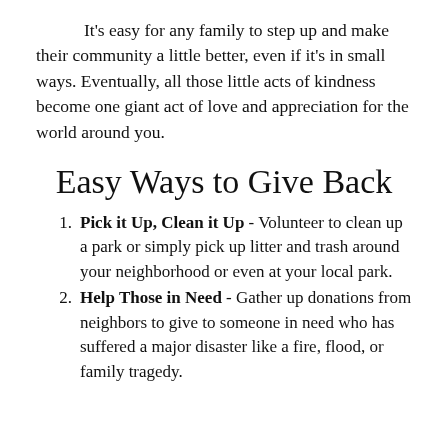It's easy for any family to step up and make their community a little better, even if it's in small ways. Eventually, all those little acts of kindness become one giant act of love and appreciation for the world around you.
Easy Ways to Give Back
Pick it Up, Clean it Up - Volunteer to clean up a park or simply pick up litter and trash around your neighborhood or even at your local park.
Help Those in Need - Gather up donations from neighbors to give to someone in need who has suffered a major disaster like a fire, flood, or family tragedy.